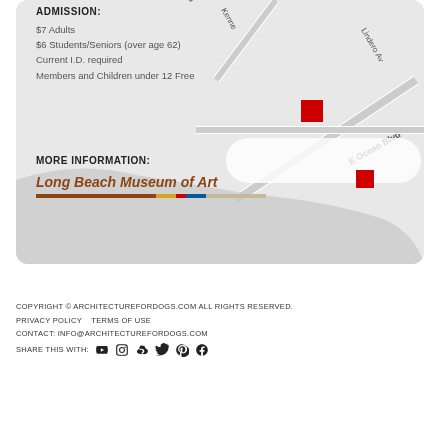ADMISSION:
$7 Adults
$6 Students/Seniors (over age 62)
Current I.D. required
Members and Children under 12 Free
[Figure (map): Street map showing location near Kennedy, E Ocean Blvd, Lindero Ave, with a red square marker indicating the museum location]
MORE INFORMATION:
Long Beach Museum of Art
[Figure (logo): Long Beach Museum of Art logo with colored horizontal bar underneath]
COPYRIGHT © ARCHITECTUREFORDOGS.COM ALL RIGHTS RESERVED.
PRIVACY POLICY   TERMS OF USE
CONTACT: INFO@ARCHITECTUREFORDOGS.COM
SHARE THIS WITH: